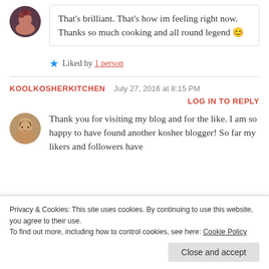That's brilliant. That's how im feeling right now. Thanks so much cooking and all round legend 😊
★ Liked by 1 person
KOOLKOSHERKITCHEN   July 27, 2016 at 8:15 PM   LOG IN TO REPLY
Thank you for visiting my blog and for the like. I am so happy to have found another kosher blogger! So far my likers and followers have
Privacy & Cookies: This site uses cookies. By continuing to use this website, you agree to their use.
To find out more, including how to control cookies, see here: Cookie Policy